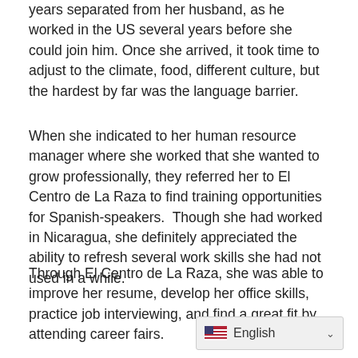years separated from her husband, as he worked in the US several years before she could join him. Once she arrived, it took time to adjust to the climate, food, different culture, but the hardest by far was the language barrier.
When she indicated to her human resource manager where she worked that she wanted to grow professionally, they referred her to El Centro de La Raza to find training opportunities for Spanish-speakers.  Though she had worked in Nicaragua, she definitely appreciated the ability to refresh several work skills she had not used in a while.
Through El Centro de La Raza, she was able to improve her resume, develop her office skills, practice job interviewing, and find a great fit by attending career fairs.